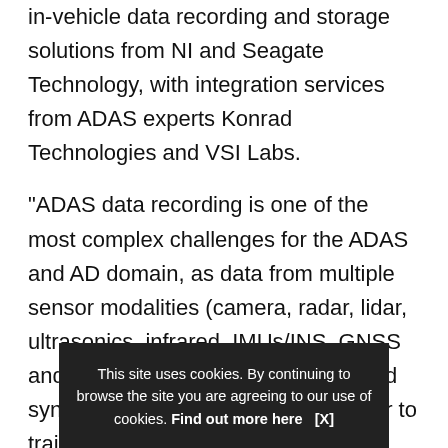in-vehicle data recording and storage solutions from NI and Seagate Technology, with integration services from ADAS experts Konrad Technologies and VSI Labs.
“ADAS data recording is one of the most complex challenges for the ADAS and AD domain, as data from multiple sensor modalities (camera, radar, lidar, ultrasonics, infrared, IMUs/INS, GNSS and vehicle networks) must be logged synchronously and analyzed together to train and validate the performance of safety functions and features,” said Drita Roggenbuck, senior vice president and general manager of transportation at NI. “We are excited to team up with oth… the ADA… solution…
This site uses cookies. By continuing to browse the site you are agreeing to our use of cookies. Find out more here   [X]